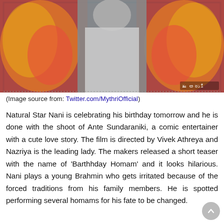[Figure (photo): Movie poster/promotional image of Natural Star Nani with fire effects on either side and a blue ornamental border frame. Telugu text watermark visible in bottom right corner.]
(Image source from: Twitter.com/MythriOfficial)
Natural Star Nani is celebrating his birthday tomorrow and he is done with the shoot of Ante Sundaraniki, a comic entertainer with a cute love story. The film is directed by Vivek Athreya and Nazriya is the leading lady. The makers released a short teaser with the name of 'Barthhday Homam' and it looks hilarious. Nani plays a young Brahmin who gets irritated because of the forced traditions from his family members. He is spotted performing several homams for his fate to be changed.